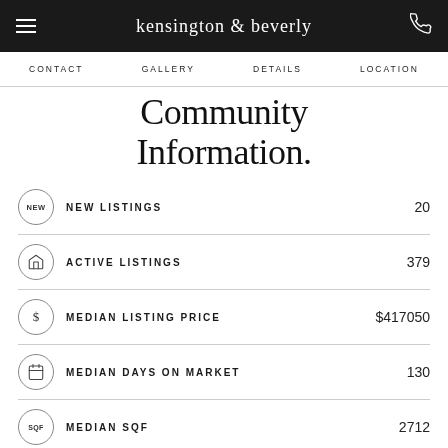kensington & beverly
CONTACT  GALLERY  DETAILS  LOCATION
Community Information.
|  | Metric | Value |
| --- | --- | --- |
| NEW | NEW LISTINGS | 20 |
| 🏠 | ACTIVE LISTINGS | 379 |
| $ | MEDIAN LISTING PRICE | $417050 |
| 📷 | MEDIAN DAYS ON MARKET | 130 |
| SQF | MEDIAN SQF | 2712 |
| $ | MEDIAN PRICE PER SQF | $1258.716186 |